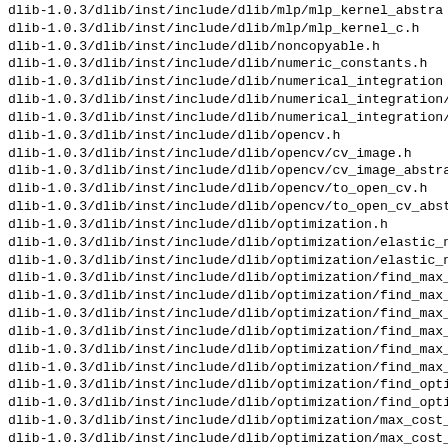dlib-1.0.3/dlib/inst/include/dlib/mlp/mlp_kernel_abstra
dlib-1.0.3/dlib/inst/include/dlib/mlp/mlp_kernel_c.h
dlib-1.0.3/dlib/inst/include/dlib/noncopyable.h
dlib-1.0.3/dlib/inst/include/dlib/numeric_constants.h
dlib-1.0.3/dlib/inst/include/dlib/numerical_integration
dlib-1.0.3/dlib/inst/include/dlib/numerical_integration/
dlib-1.0.3/dlib/inst/include/dlib/numerical_integration/
dlib-1.0.3/dlib/inst/include/dlib/opencv.h
dlib-1.0.3/dlib/inst/include/dlib/opencv/cv_image.h
dlib-1.0.3/dlib/inst/include/dlib/opencv/cv_image_abstra
dlib-1.0.3/dlib/inst/include/dlib/opencv/to_open_cv.h
dlib-1.0.3/dlib/inst/include/dlib/opencv/to_open_cv_abst
dlib-1.0.3/dlib/inst/include/dlib/optimization.h
dlib-1.0.3/dlib/inst/include/dlib/optimization/elastic_n
dlib-1.0.3/dlib/inst/include/dlib/optimization/elastic_n
dlib-1.0.3/dlib/inst/include/dlib/optimization/find_max_
dlib-1.0.3/dlib/inst/include/dlib/optimization/find_max_
dlib-1.0.3/dlib/inst/include/dlib/optimization/find_max_
dlib-1.0.3/dlib/inst/include/dlib/optimization/find_max_
dlib-1.0.3/dlib/inst/include/dlib/optimization/find_max_
dlib-1.0.3/dlib/inst/include/dlib/optimization/find_max_
dlib-1.0.3/dlib/inst/include/dlib/optimization/find_opti
dlib-1.0.3/dlib/inst/include/dlib/optimization/find_opti
dlib-1.0.3/dlib/inst/include/dlib/optimization/max_cost_
dlib-1.0.3/dlib/inst/include/dlib/optimization/max_cost_
dlib-1.0.3/dlib/inst/include/dlib/optimization/max_sum_s
dlib-1.0.3/dlib/inst/include/dlib/optimization/max_sum_s
dlib-1.0.3/dlib/inst/include/dlib/optimization/optimizat
dlib-1.0.3/dlib/inst/include/dlib/optimization/optimizat
dlib-1.0.3/dlib/inst/include/dlib/optimization/optimizat